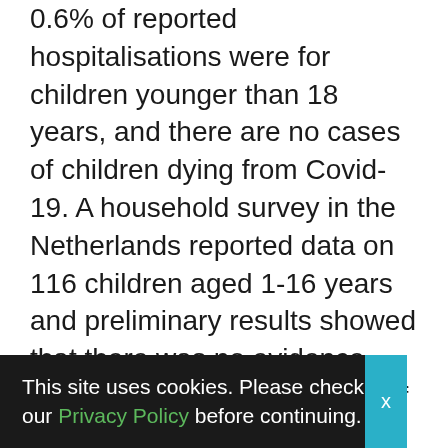0.6% of reported hospitalisations were for children younger than 18 years, and there are no cases of children dying from Covid-19. A household survey in the Netherlands reported data on 116 children aged 1-16 years and preliminary results showed that there was no evidence that children under 12 years of age were the first infected in the family.
In Ireland, prior to the closure of schools, no school-acquired cases were detected among the 924 children and 101 adults in
This site uses cookies. Please check our Privacy Policy before continuing. X